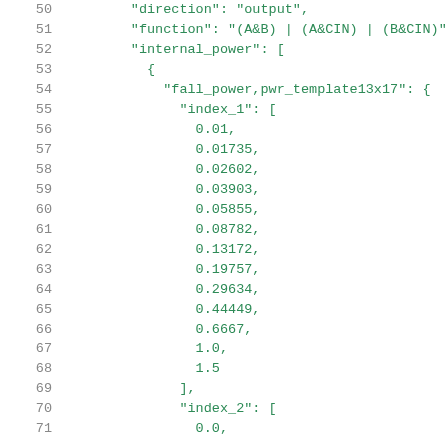Code listing lines 50-71: JSON structure for internal_power with fall_power template and index_1 values
50: "direction": "output",
51:     "function": "(A&B) | (A&CIN) | (B&CIN)",
52:     "internal_power": [
53:       {
54:         "fall_power,pwr_template13x17": {
55:           "index_1": [
56:             0.01,
57:             0.01735,
58:             0.02602,
59:             0.03903,
60:             0.05855,
61:             0.08782,
62:             0.13172,
63:             0.19757,
64:             0.29634,
65:             0.44449,
66:             0.6667,
67:             1.0,
68:             1.5
69:           ],
70:           "index_2": [
71:             0.0,